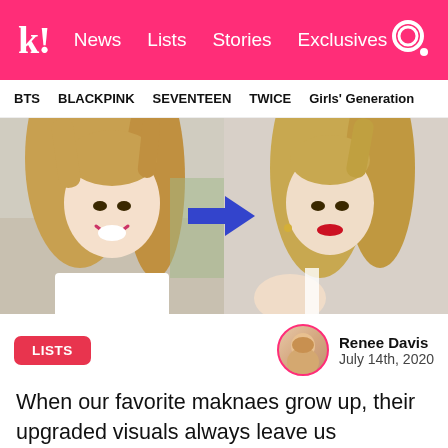koreaboo — News  Lists  Stories  Exclusives
BTS  BLACKPINK  SEVENTEEN  TWICE  Girls' Generation
[Figure (photo): Before and after comparison photo of a K-pop idol with long blonde hair in pigtails. Left: smiling brightly in a white shirt outdoors. Right: mature look with red lips. Blue arrow pointing right between the two photos.]
LISTS
Renee Davis
July 14th, 2020
When our favorite maknaes grow up, their upgraded visuals always leave us absolutely stunned with how amazing they look! Here is the